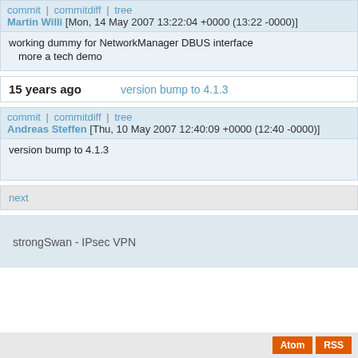commit | commitdiff | tree
Martin Willi [Mon, 14 May 2007 13:22:04 +0000 (13:22 -0000)]
working dummy for NetworkManager DBUS interface
  more a tech demo
15 years ago    version bump to 4.1.3
commit | commitdiff | tree
Andreas Steffen [Thu, 10 May 2007 12:40:09 +0000 (12:40 -0000)]
version bump to 4.1.3
next
strongSwan - IPsec VPN
Atom  RSS